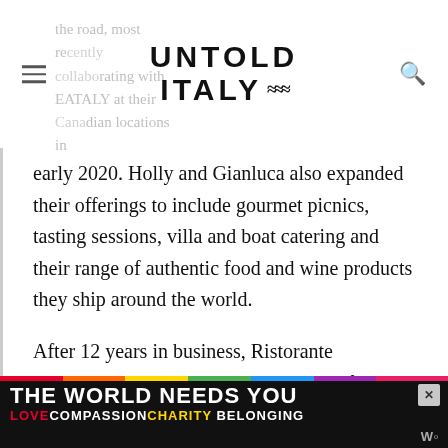UNTOLD ITALY
the road, most recently collaborating with EATALY at their Canadian locations in early 2020. Holly and Gianluca also expanded their offerings to include gourmet picnics, tasting sessions, villa and boat catering and their range of authentic food and wine products they ship around the world.
After 12 years in business, Ristorante Michel'angelo sadly closed at the end of 2020 however, their legacy will continue at their new venture, a sea view garden property, the Giardino di Capri, launching soon. Holly & Gianluca continue to share their love of the
[Figure (infographic): Advertisement banner: rainbow strip at top, 'THE WORLD NEEDS YOU' in white bold text on black background with close button, bottom line reads LOVE COMPASSION CHARITY BELONGING in colored text, with Word logo at bottom right.]